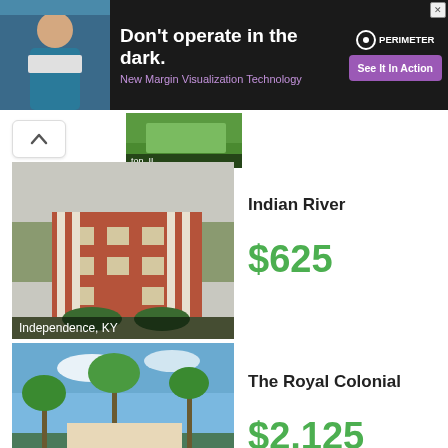[Figure (photo): Advertisement banner with dark background showing a masked medical professional on the left, bold white headline text, purple subtext about margin visualization technology, Perimeter logo, and a purple 'See It In Action' button.]
[Figure (photo): Partial top image of a property listing, green area visible]
[Figure (photo): Brick colonial building with white columns in Independence, KY]
Indian River
$625
[Figure (photo): Tropical resort-style apartment complex with pool and palm trees in Boca Raton, FL]
The Royal Colonial
$2,125
Finance